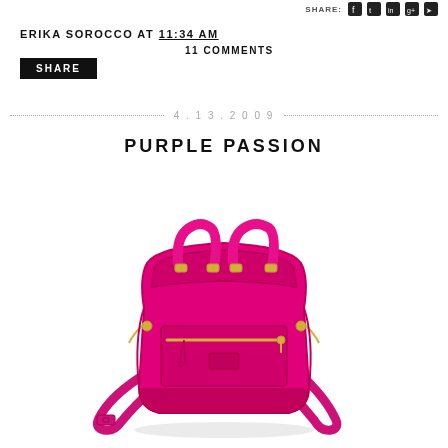SHARE:
ERIKA SOROCCO AT 11:34 AM
11 COMMENTS
SHARE
4.13.2009
PURPLE PASSION
[Figure (photo): A bright fuchsia/magenta leather handbag with gold hardware, top handles, a front zip pocket, and a detachable shoulder strap.]